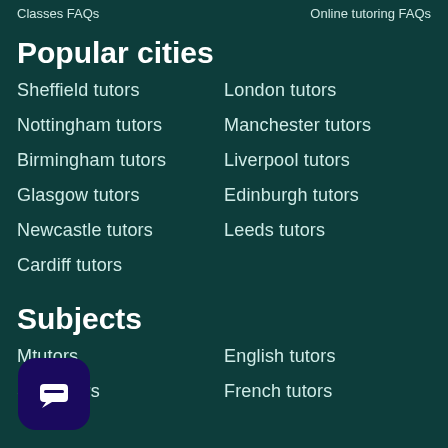Classes FAQs    Online tutoring FAQs
Popular cities
Sheffield tutors
London tutors
Nottingham tutors
Manchester tutors
Birmingham tutors
Liverpool tutors
Glasgow tutors
Edinburgh tutors
Newcastle tutors
Leeds tutors
Cardiff tutors
Subjects
M... tutors
English tutors
Sc... tutors
French tutors